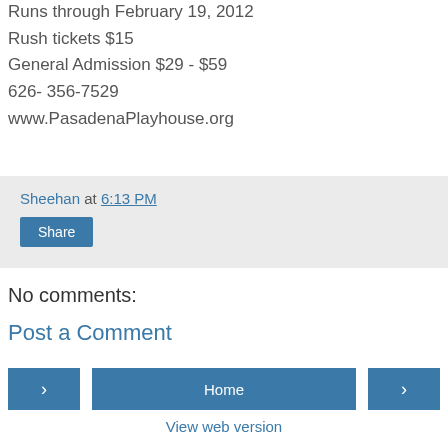Runs through February 19, 2012
Rush tickets $15
General Admission $29 - $59
626- 356-7529
www.PasadenaPlayhouse.org
Sheehan at 6:13 PM
Share
No comments:
Post a Comment
< Home >
View web version
About Me
Sheehan